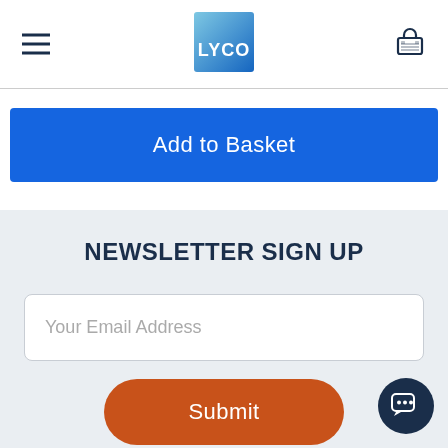[Figure (logo): LYCO logo — blue square with gradient and white LYCO text]
Add to Basket
NEWSLETTER SIGN UP
Your Email Address
Submit
Sign up for all our latest news and